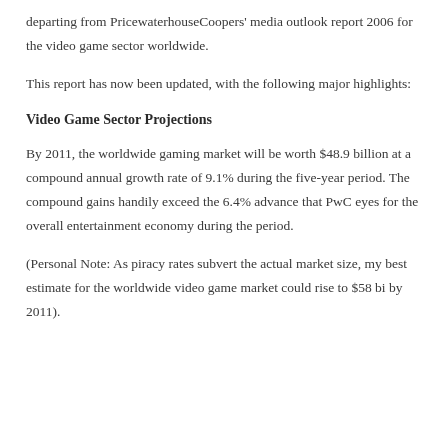departing from PricewaterhouseCoopers' media outlook report 2006 for the video game sector worldwide.
This report has now been updated, with the following major highlights:
Video Game Sector Projections
By 2011, the worldwide gaming market will be worth $48.9 billion at a compound annual growth rate of 9.1% during the five-year period. The compound gains handily exceed the 6.4% advance that PwC eyes for the overall entertainment economy during the period.
(Personal Note: As piracy rates subvert the actual market size, my best estimate for the worldwide video game market could rise to $58 bi by 2011).